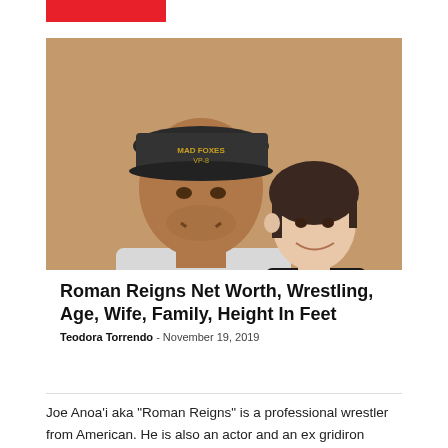[Figure (photo): Photo of Roman Reigns (large muscular man in a 'ROMAN' t-shirt and 'MAD FOXES VP-8' military cap) standing with a shorter woman with short dark hair, both smiling, in front of a tan/orange wall.]
Roman Reigns Net Worth, Wrestling, Age, Wife, Family, Height In Feet
Teodora Torrendo - November 19, 2019
Joe Anoa'i aka "Roman Reigns" is a professional wrestler from American. He is also an actor and an ex gridiron football player. He is famous for being a skilled wrestler and also for being a part of the